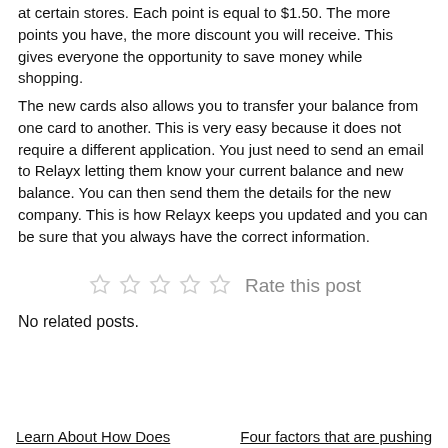at certain stores. Each point is equal to $1.50. The more points you have, the more discount you will receive. This gives everyone the opportunity to save money while shopping.
The new cards also allows you to transfer your balance from one card to another. This is very easy because it does not require a different application. You just need to send an email to Relayx letting them know your current balance and new balance. You can then send them the details for the new company. This is how Relayx keeps you updated and you can be sure that you always have the correct information.
[Figure (other): Five empty star rating icons with 'Rate this post' text]
No related posts.
Learn About How Does
Four factors that are pushing